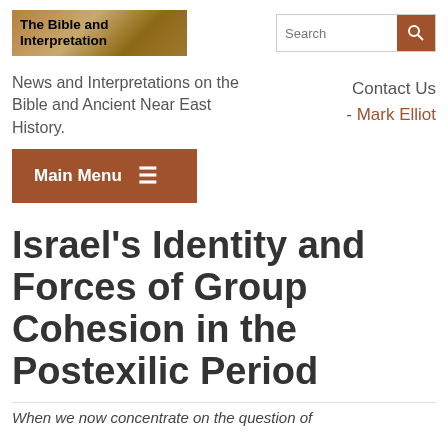The Bible and Interpretation
News and Interpretations on the Bible and Ancient Near East History.
Contact Us - Mark Elliot
Main Menu
Israel's Identity and Forces of Group Cohesion in the Postexilic Period
When we now concentrate on the question of